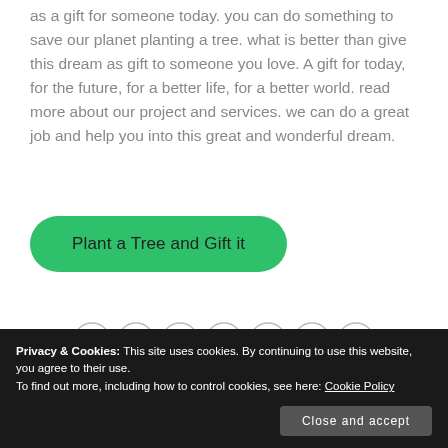about climate change (and right so). You should plant a tree as a gift for someone today. you can do something to save our planet planting a tree. what is better than give this dream as gift to someone you love. A gift for today, for the future, for a better life, for a better world. read more about our project and services. we can do a great job and help you into this great and wonderful dream.
Plant a Tree and Gift it
[Figure (infographic): Row of seven social media icon circles (greyed out): WhatsApp, Facebook, Twitter, Email, Pinterest, LinkedIn, Tumblr]
Privacy & Cookies: This site uses cookies. By continuing to use this website, you agree to their use.
To find out more, including how to control cookies, see here: Cookie Policy
Close and accept
CO2LIVING